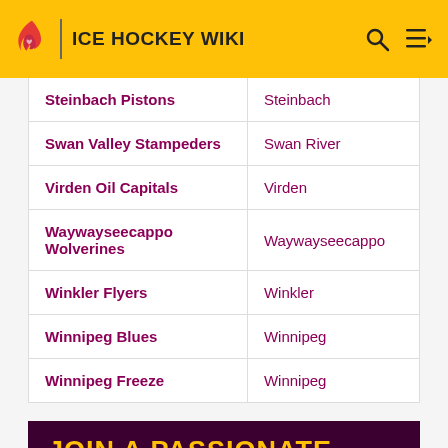ICE HOCKEY WIKI
| Team | City |
| --- | --- |
| Steinbach Pistons | Steinbach |
| Swan Valley Stampeders | Swan River |
| Virden Oil Capitals | Virden |
| Waywayseecappo Wolverines | Waywayseecappo |
| Winkler Flyers | Winkler |
| Winnipeg Blues | Winnipeg |
| Winnipeg Freeze | Winnipeg |
JOIN A PASSIONATE COMMUNITY OF PEOPLE